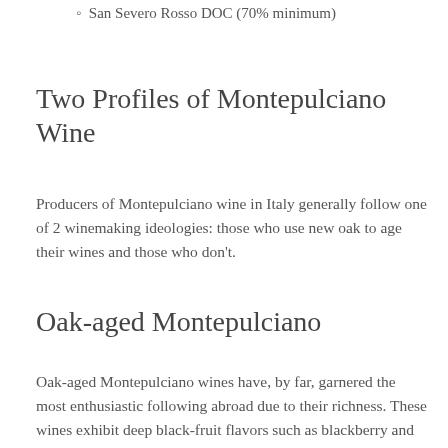San Severo Rosso DOC (70% minimum)
Two Profiles of Montepulciano Wine
Producers of Montepulciano wine in Italy generally follow one of 2 winemaking ideologies: those who use new oak to age their wines and those who don't.
Oak-aged Montepulciano
Oak-aged Montepulciano wines have, by far, garnered the most enthusiastic following abroad due to their richness. These wines exhibit deep black-fruit flavors such as blackberry and prune, licorice, and oaky flavors of cocoa, vanilla, and mocha. The